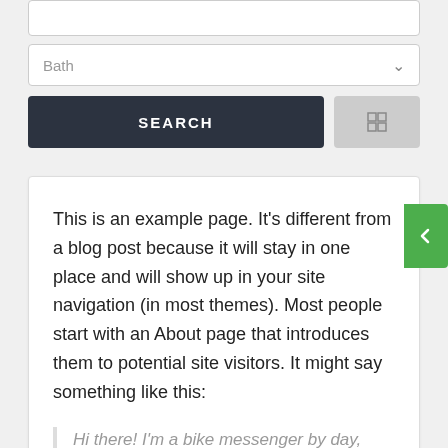[Figure (screenshot): UI input box (top, partially visible)]
[Figure (screenshot): Dropdown input box labeled 'Bath' with chevron]
[Figure (screenshot): Search button (dark) and grid icon button (gray)]
This is an example page. It's different from a blog post because it will stay in one place and will show up in your site navigation (in most themes). Most people start with an About page that introduces them to potential site visitors. It might say something like this:
Hi there! I'm a bike messenger by day,